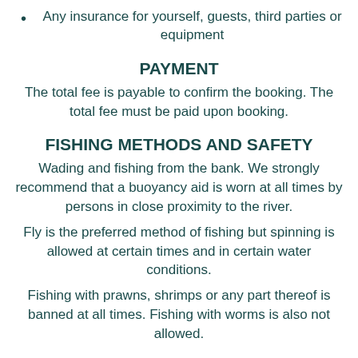Any insurance for yourself, guests, third parties or equipment
PAYMENT
The total fee is payable to confirm the booking. The total fee must be paid upon booking.
FISHING METHODS AND SAFETY
Wading and fishing from the bank. We strongly recommend that a buoyancy aid is worn at all times by persons in close proximity to the river.
Fly is the preferred method of fishing but spinning is allowed at certain times and in certain water conditions.
Fishing with prawns, shrimps or any part thereof is banned at all times. Fishing with worms is also not allowed.
RETURN POLICY